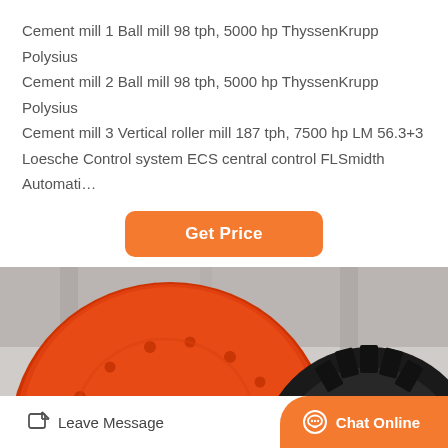Cement mill 1 Ball mill 98 tph, 5000 hp ThyssenKrupp Polysius
Cement mill 2 Ball mill 98 tph, 5000 hp ThyssenKrupp Polysius
Cement mill 3 Vertical roller mill 187 tph, 7500 hp LM 56.3+3
Loesche Control system ECS central control FLSmidth Automati…
[Figure (other): Orange button labeled Get Price]
[Figure (photo): Close-up photo of large orange industrial ball mill machinery with black gear ring in a cement plant facility]
Leave Message
Chat Online